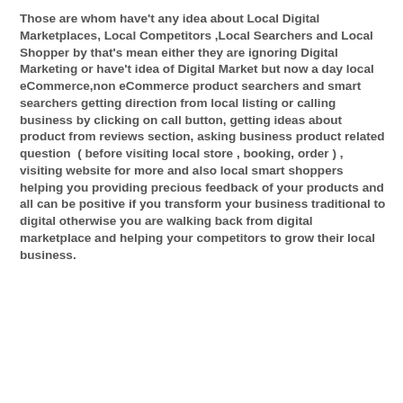Those are whom have't any idea about Local Digital Marketplaces, Local Competitors ,Local Searchers and Local Shopper by that's mean either they are ignoring Digital Marketing or have't idea of Digital Market but now a day local eCommerce,non eCommerce product searchers and smart searchers getting direction from local listing or calling business by clicking on call button, getting ideas about product from reviews section, asking business product related question  ( before visiting local store , booking, order ) , visiting website for more and also local smart shoppers helping you providing precious feedback of your products and all can be positive if you transform your business traditional to digital otherwise you are walking back from digital marketplace and helping your competitors to grow their local business.